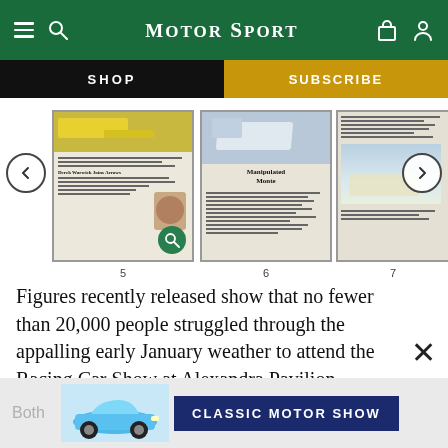MotorSport
SHOP
SUBSCRIBE
[Figure (screenshot): Carousel of Motor Sport magazine issue pages numbered 5, 6, and 7, with navigation left/right arrows. Page 6 shows headline 'Manipulated Monte'. Page 5 has a zoom/search icon overlay.]
Figures recently released show that no fewer than 20,000 people struggled through the appalling early January weather to attend the Racing Car Show at Alexandra Pavilion.
[Figure (photo): Advertisement banner showing a classic Porsche car in light blue and a dark blue banner reading 'CLASSIC MOTOR SHOW'. Text 'Both' visible on left.]